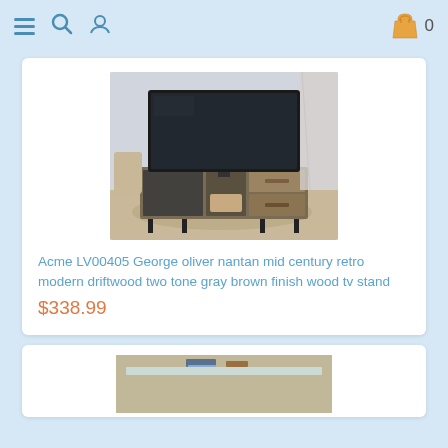Navigation bar with menu, search, user, cart (0)
[Figure (photo): Photo of a mid-century modern TV stand with two-tone gray-brown wood finish and black metal legs, with a large flatscreen TV on top, in a styled living room setting.]
Acme LV00405 George oliver nantan mid century retro modern driftwood two tone gray brown finish wood tv stand
$338.99
[Figure (photo): Partial photo of another furniture item (coffee table with glass top) in a second product card at the bottom of the page.]